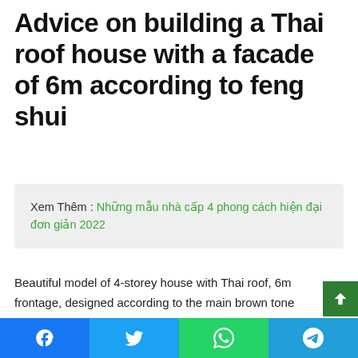Advice on building a Thai roof house with a facade of 6m according to feng shui
Xem Thêm : Những mẫu nhà cấp 4 phong cách hiện đại đơn giản 2022
Beautiful model of 4-storey house with Thai roof, 6m frontage, designed according to the main brown tone combined with milky white, suitable for Dai Trach Tho network – Dong Tu Trach wide garden land according to the color feng shui Tho network. Each floor has a spacious balcony to enjoy the view because the land is quite low compared to the street frontage 1.1m, so the design of the ground floor has a car garage